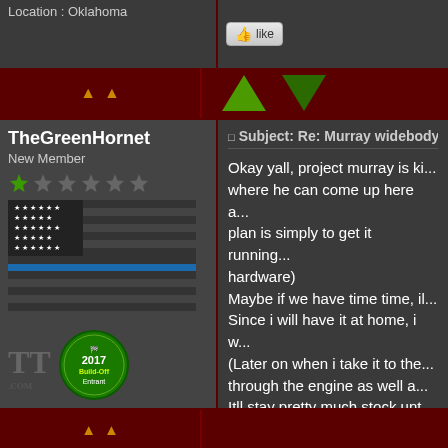Location : Oklahoma
[Figure (other): Like button with thumbs up icon]
[Figure (other): Vote arrows: up (green) and down (dark green)]
TheGreenHornet
New Member
[Figure (other): Thin Blue Line American flag avatar image]
[Figure (logo): 2017 Build-Off Entrant badge (green circular badge)]
Age : 21
Join date : 2016-04-16
Posts : 227
Location : Indiana
Subject: Re: Murray widebody bu...
Okay yall, project murray is ki... where he can come up here a... plan is simply to get it running... hardware)
Maybe if we have time time, il...
Since i will have it at home, i w...
(Later on when i take it to the... through the engine as well a...
Itll stay pretty much stock unt... suggestions/comments/conce...
[Figure (other): Like button with thumbs up icon]
[Figure (other): Navigation arrows (gold up and down arrows)]